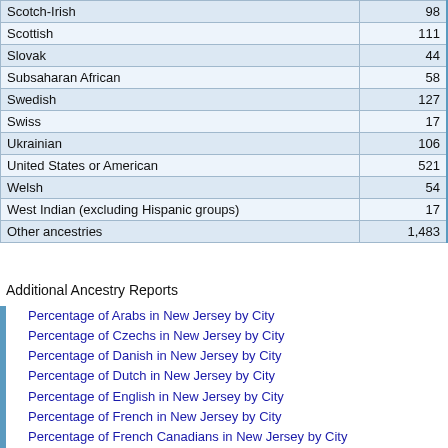| Ancestry | Count |
| --- | --- |
| Scotch-Irish | 98 |
| Scottish | 111 |
| Slovak | 44 |
| Subsaharan African | 58 |
| Swedish | 127 |
| Swiss | 17 |
| Ukrainian | 106 |
| United States or American | 521 |
| Welsh | 54 |
| West Indian (excluding Hispanic groups) | 17 |
| Other ancestries | 1,483 |
Additional Ancestry Reports
Percentage of Arabs in New Jersey by City
Percentage of Czechs in New Jersey by City
Percentage of Danish in New Jersey by City
Percentage of Dutch in New Jersey by City
Percentage of English in New Jersey by City
Percentage of French in New Jersey by City
Percentage of French Canadians in New Jersey by City
Percentage of Germans in New Jersey by City
Percentage of Greeks in New Jersey by City
Percentage of Hungarians in New Jersey by City
Percentage of Irish in New Jersey by City
Percentage of Italians in New Jersey by City
Percentage of Lithuanians in New Jersey by City
Percentage of Norwegians in New Jersey by City
Percentage of Poles in New Jersey by City
Percentage of Portuguese in New Jersey by City
Percentage of Russians in New Jersey by City